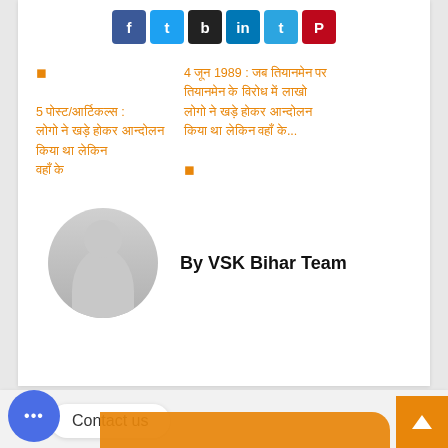[Figure (other): Row of 6 social media share buttons (Facebook blue, Twitter light blue, black, LinkedIn blue, Telegram blue, Pinterest red)]
◼  4 जून 1989 : जब तियानमेन पर 5 पोस्ट/आर्टिकल्स : तियानमेन के विरोध में लाखो लोगो ने खड़े होकर आन्दोलन किया था लेकिन वहां के... ◼
[Figure (photo): Generic user avatar - grey circle with silhouette of person]
By VSK Bihar Team
[Figure (other): Bottom bar with chat button, Contact us box, orange bar, and scroll-to-top arrow button]